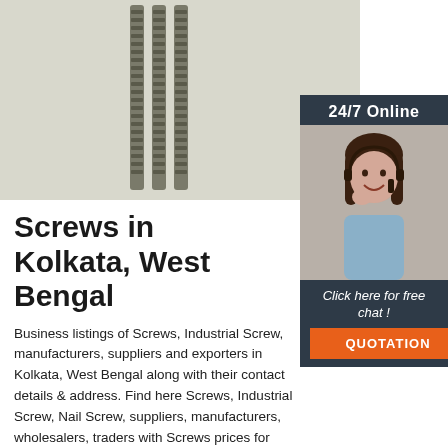[Figure (photo): Close-up photo of multiple metal screws standing vertically against a light grey/white background]
[Figure (photo): Sidebar with '24/7 Online' text at top, photo of a smiling woman with headset, then 'Click here for free chat!' text and QUOTATION button below]
Screws in Kolkata, West Bengal
Business listings of Screws, Industrial Screw, manufacturers, suppliers and exporters in Kolkata, West Bengal along with their contact details & address. Find here Screws, Industrial Screw, Nail Screw, suppliers, manufacturers, wholesalers, traders with Screws prices for buying.
Get Price